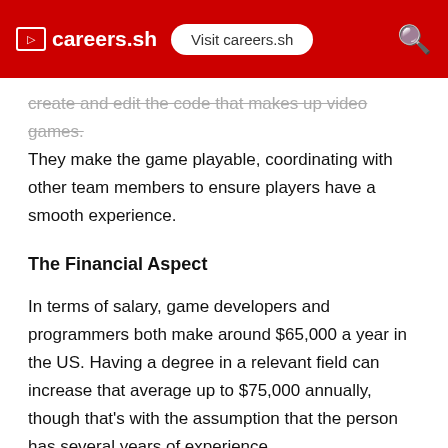careers.sh  Visit careers.sh
create and edit the code that makes up video games. They make the game playable, coordinating with other team members to ensure players have a smooth experience.
The Financial Aspect
In terms of salary, game developers and programmers both make around $65,000 a year in the US. Having a degree in a relevant field can increase that average up to $75,000 annually, though that's with the assumption that the person has several years of experience.
(cut off at bottom)